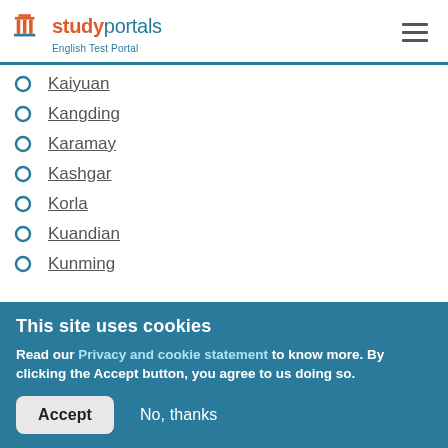studyportals — English Test Portal
Kaiyuan
Kangding
Karamay
Kashgar
Korla
Kuandian
Kunming
This site uses cookies
Read our Privacy and cookie statement to know more. By clicking the Accept button, you agree to us doing so.